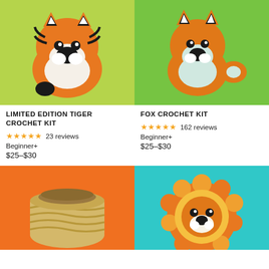[Figure (photo): Crocheted tiger amigurumi on green background]
[Figure (photo): Crocheted fox amigurumi on green background]
LIMITED EDITION TIGER CROCHET KIT
★★★★★ 23 reviews
Beginner+
$25–$30
FOX CROCHET KIT
★★★★★ 162 reviews
Beginner+
$25–$30
[Figure (photo): Crocheted basket/coaster on orange background]
[Figure (photo): Crocheted lion head on teal background]